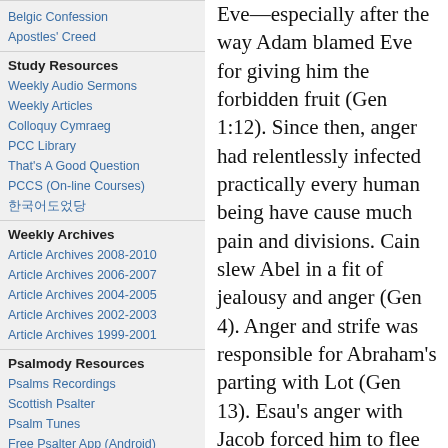Belgic Confession
Apostles' Creed
Study Resources
Weekly Audio Sermons
Weekly Articles
Colloquy Cymraeg
PCC Library
That's A Good Question
PCCS (On-line Courses)
한국어
Weekly Archives
Article Archives 2008-2010
Article Archives 2006-2007
Article Archives 2004-2005
Article Archives 2002-2003
Article Archives 1999-2001
Psalmody Resources
Psalms Recordings
Scottish Psalter
Psalm Tunes
Free Psalter App (Android)
Psalms Articles
Eve—especially after the way Adam blamed Eve for giving him the forbidden fruit (Gen 1:12). Since then, anger had relentlessly infected practically every human being have cause much pain and divisions. Cain slew Abel in a fit of jealousy and anger (Gen 4). Anger and strife was responsible for Abraham's parting with Lot (Gen 13). Esau's anger with Jacob forced him to flee (Gen 27). Levi and Simeon slaughtered the Shechemites because Shechem their prince defiled their sister Dinah (Gen 34). Joseph was thrown into prison because